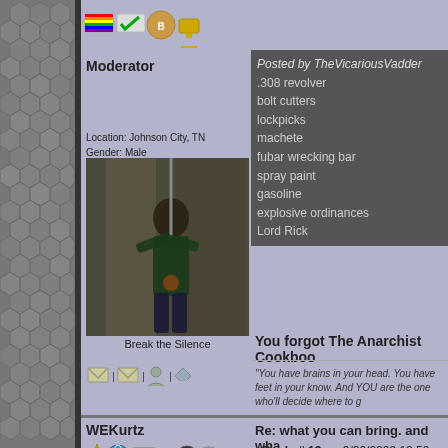[Figure (screenshot): Forum page screenshot showing two user posts with profile sidebar and content columns on a lavender/purple background with hexagon pattern sidebar]
Moderator
Location: Johnson City, TN
Gender: Male
[Figure (photo): Person rappelling/climbing on a building exterior]
Break the Silence
Posted by TheVicariousVadder
.308 revolver
bolt cutters
lockpicks
machete
fubar wrecking bar
spray paint
gasoline
explosive ordinances
Lord Rick
You forgot The Anarchist Cookboo
"You have brains in your head. You have feet in your know. And YOU are the one who'll decide where to g
WEKurtz
Location: Western MA
Gender: Male
Re: what you can bring. and wha
<Reply # 13 on 9/30/2009 12:52 PM